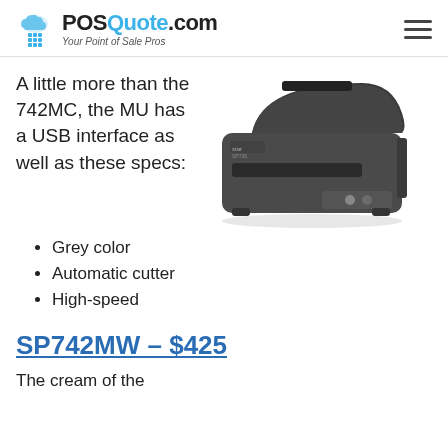POSQuote.com — Your Point of Sale Pros
A little more than the 742MC, the MU has a USB interface as well as these specs:
[Figure (photo): Photo of a dark grey Star SP7xx series receipt/kitchen printer, showing the top paper slot, front paper exit, and control buttons.]
Grey color
Automatic cutter
High-speed
SP742MW – $425
The cream of the